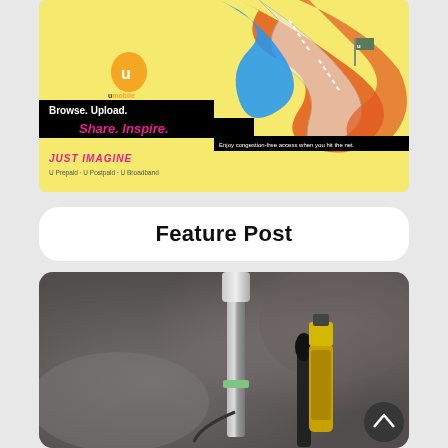[Figure (illustration): U Mobile advertisement banner with yellow background, colorful swirling shapes (road/ribbon design), U Mobile orange logo, black bars with text 'Browse. Upload.' and 'Share. Inspire.', tagline 'JUST IMAGINE', and services list 'U Prepaid · U Postpaid · U Broadband']
Browse. Upload.
Share. Inspire.
Enjoy congestion-free access when you hit the net.
JUST IMAGINE
U Prepaid · U Postpaid · U Broadband
Feature Post
[Figure (photo): Close-up photo of vaping devices/e-cigarettes on a blurred background, showing a tall metal vape pen with green ring and a shorter dark device with amber e-liquid bottle next to it]